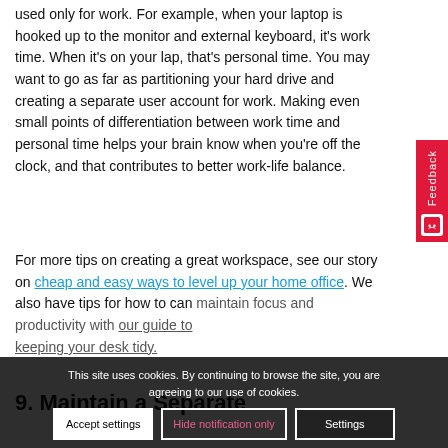used only for work. For example, when your laptop is hooked up to the monitor and external keyboard, it's work time. When it's on your lap, that's personal time. You may want to go as far as partitioning your hard drive and creating a separate user account for work. Making even small points of differentiation between work time and personal time helps your brain know when you're off the clock, and that contributes to better work-life balance.
For more tips on creating a great workspace, see our story on cheap and easy ways to level up your home office. We also have tips for how to can maintain focus and productivity with our guide to keeping your desk tidy.
9. Maintain a Separate
This site uses cookies. By continuing to browse the site, you are agreeing to our use of cookies.